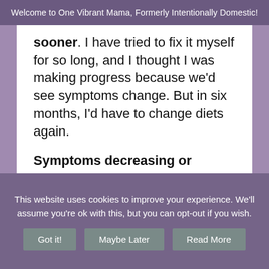Welcome to One Vibrant Mama, Formerly Intentionally Domestic!
sooner.  I have tried to fix it myself for so long, and I thought I was making progress because we'd see symptoms change.  But in six months, I'd have to change diets again.

Symptoms decreasing or changing alone is not evidence that a diet is fixing the root of your problem, especially if you have to change diets again in six months or a year because the symptom comes back or you develop new symptoms.  You never actually move to another level, you're just spinning
This website uses cookies to improve your experience. We'll assume you're ok with this, but you can opt-out if you wish.
Got it!  Maybe Later  Read More